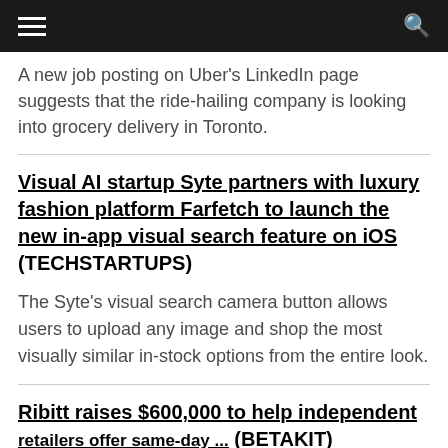[hamburger menu] [search icon]
A new job posting on Uber's LinkedIn page suggests that the ride-hailing company is looking into grocery delivery in Toronto.
Visual AI startup Syte partners with luxury fashion platform Farfetch to launch the new in-app visual search feature on iOS (TECHSTARTUPS)
The Syte's visual search camera button allows users to upload any image and shop the most visually similar in-stock options from the entire look.
Ribitt raises $600,000 to help independent ... (BETAKIT)